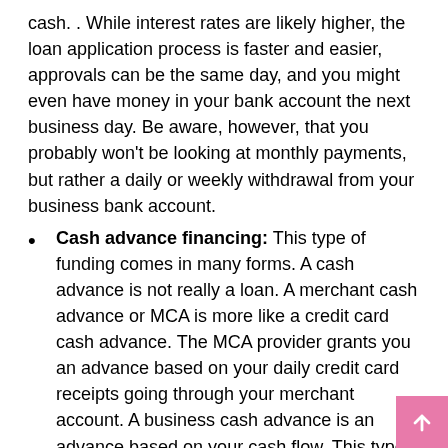cash. . While interest rates are likely higher, the loan application process is faster and easier, approvals can be the same day, and you might even have money in your bank account the next business day. Be aware, however, that you probably won't be looking at monthly payments, but rather a daily or weekly withdrawal from your business bank account.
Cash advance financing: This type of funding comes in many forms. A cash advance is not really a loan. A merchant cash advance or MCA is more like a credit card cash advance. The MCA provider grants you an advance based on your daily credit card receipts going through your merchant account. A business cash advance is an advance based on your cash flow. This type of financing is readily available, relatively easy to obtain, and you can access it quickly, but it is expensive. Depending on the provider, the costs associated with a cash advance can be much higher than the other types of financing mentioned above. In addition, since these providers generally do not